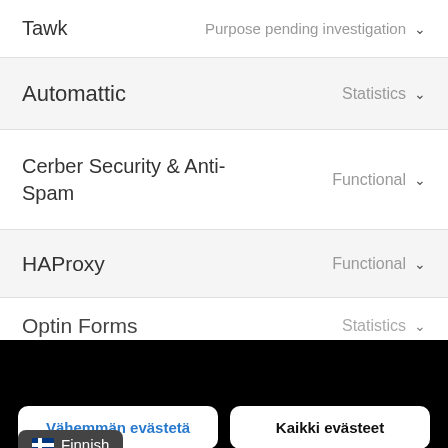Tawk — Purpose pending investigation
Automattic — Statistics
Cerber Security & Anti-Spam — Functional
HAProxy — Functional
Optin Forms — Statistics
Sivustomme käyttää evästeitä. Käyttämällä sivustoamme hyväksyt evästeiden käytön.  Lue lisää
Vähemmän evästetä
Kaikki evästeet
Finnish